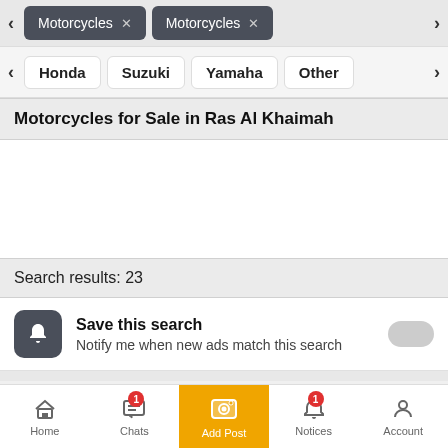[Figure (screenshot): Top filter bar with dark tags showing 'Motorcycles x' twice, with left and right arrow navigation buttons]
[Figure (screenshot): Brand filter bar with pills: Honda, Suzuki, Yamaha, Other, with left and right navigation arrows]
Motorcycles for Sale in Ras Al Khaimah
Search results: 23
Save this search
Notify me when new ads match this search
[Figure (screenshot): Bottom navigation bar with Home, Chats (badge:1), Add Post (orange), Notices (badge:1), Account tabs]